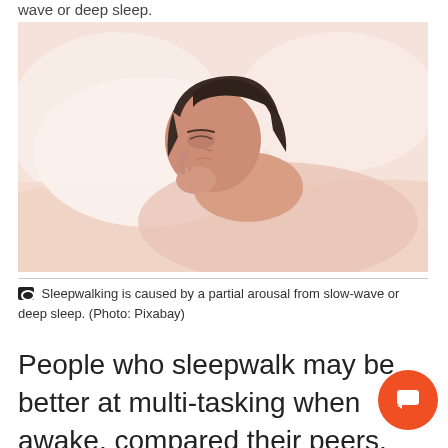wave or deep sleep.
[Figure (photo): A young woman with dark hair sleeping peacefully on white pillows and bedding, soft pink/white tones.]
Sleepwalking is caused by a partial arousal from slow-wave or deep sleep. (Photo: Pixabay)
People who sleepwalk may be better at multi-tasking when awake, compared their peers, scientists have found.